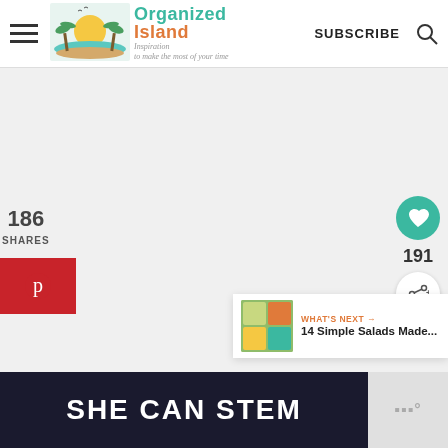Organized Island — Inspiration to make the most of your time | SUBSCRIBE
186
SHARES
[Figure (logo): Pinterest share button (red background with P icon)]
[Figure (infographic): Heart/favorite button (teal circle) with count 191 and share button below]
191
[Figure (photo): What's Next thumbnail - 14 Simple Salads Made...]
WHAT'S NEXT → 14 Simple Salads Made...
SHE CAN STEM